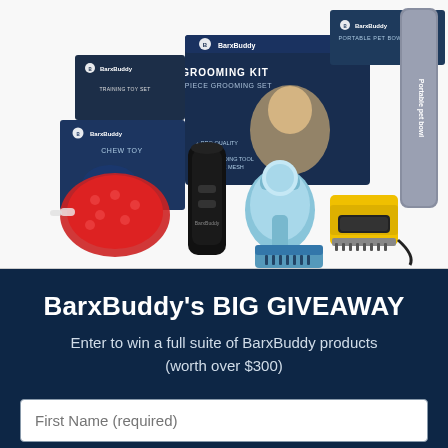[Figure (photo): BarxBuddy product lineup including grooming kit box, portable pet bowl, chew toy (red), ultrasonic trainer (black), paw cleaner (light blue), fur remover brush, and yellow/black deshedding tool arranged on white background.]
BarxBuddy's BIG GIVEAWAY
Enter to win a full suite of BarxBuddy products (worth over $300)